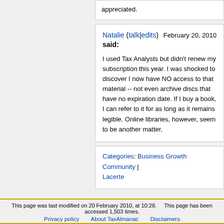Library and/or other favorites are appreciated.
Natalie (talk|edits) said: February 20, 2010

I used Tax Analysts but didn't renew my subscription this year. I was shocked to discover I now have NO access to that material -- not even archive discs that have no expiration date. If I buy a book, I can refer to it for as long as it remains legible. Online libraries, however, seem to be another matter.
Categories: Business Growth Community | Lacerte
This page was last modified on 20 February 2010, at 10:28.    This page has been accessed 1,503 times.
Privacy policy    About TaxAlmanac    Disclaimers